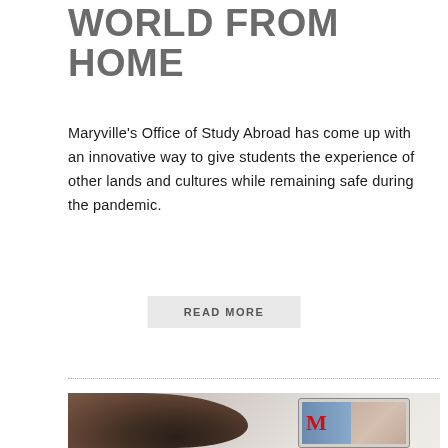WORLD FROM HOME
Maryville's Office of Study Abroad has come up with an innovative way to give students the experience of other lands and cultures while remaining safe during the pandemic.
READ MORE
[Figure (photo): A person with curly dark hair viewed from behind, looking at a tablet screen that displays a red letter M logo and a person's face, suggesting a video call or educational platform interface.]